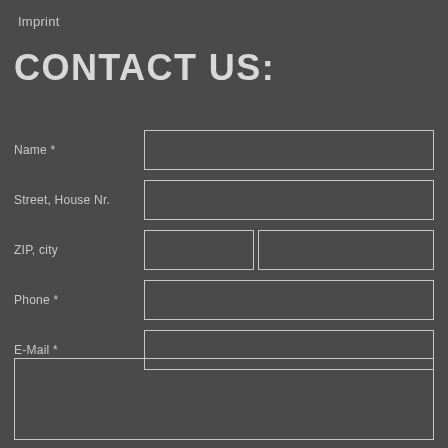Imprint
CONTACT US:
Name *
Street, House Nr.
ZIP, city
Phone *
E-Mail *
[text area box]